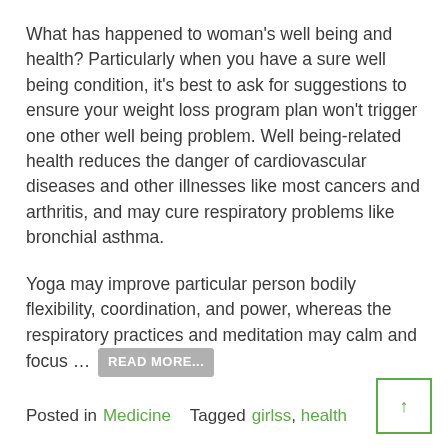What has happened to woman's well being and health? Particularly when you have a sure well being condition, it's best to ask for suggestions to ensure your weight loss program plan won't trigger one other well being problem. Well being-related health reduces the danger of cardiovascular diseases and other illnesses like most cancers and arthritis, and may cure respiratory problems like bronchial asthma.
Yoga may improve particular person bodily flexibility, coordination, and power, whereas the respiratory practices and meditation may calm and focus … READ MORE...
Posted in Medicine    Tagged girlss, health